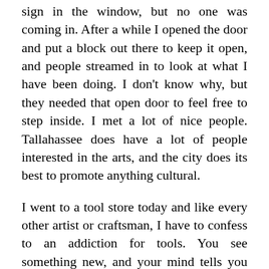sign in the window, but no one was coming in. After a while I opened the door and put a block out there to keep it open, and people streamed in to look at what I have been doing. I don't know why, but they needed that open door to feel free to step inside. I met a lot of nice people. Tallahassee does have a lot of people interested in the arts, and the city does its best to promote anything cultural.
I went to a tool store today and like every other artist or craftsman, I have to confess to an addiction for tools. You see something new, and your mind tells you that you need that. I have been able to curb those desires lately. A couple of years ago I saw the anniversary edition of a Porta- Cable plunge router. It had both a regular router and a plunge router base in a nice big case for some fabulous price, and I knew I